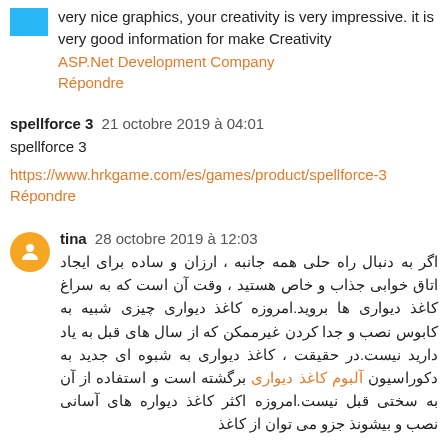very nice graphics, your creativity is very impressive. it is very good information for make Creativity
ASP.Net Development Company
Répondre
spellforce 3  21 octobre 2019 à 04:01
spellforce 3
https://www.hrkgame.com/es/games/product/spellforce-3
Répondre
tina  28 octobre 2019 à 12:03
اگر به دنبال راه حلی همه جانبه ، ارزان و ساده برای ایجاد اتاق خوابی جذاب و خاص هستید ، وقت آن است که به سراغ کاغذ دیواری ها بروید.امروزه کاغذ دیواری چیزی شبیه به کابوس نصب و جدا کردن غیرممکن که از سال های قبل به یاد دارید نیست.در حقیقت ، کاغذ دیواری به شبوه ای جدید به دکوراسیون آلبوم کاغذ دیواری برگشته است و استفاده از آن به سختی قبل نیست.امروزه اکثر کاغذ دیواره های آسانی نصب و بیشونذ جزو می توان از کاغذ